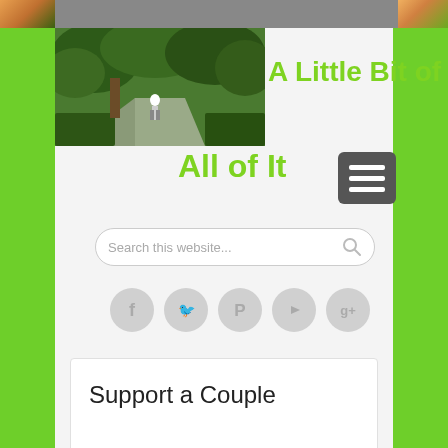[Figure (screenshot): Top image strip showing partial outdoor photo on left and decorative element on right]
[Figure (photo): Outdoor garden path photo with trees and a person walking]
A Little Bit of All of It
[Figure (other): Hamburger menu icon (three horizontal lines) on dark grey square background]
[Figure (other): Search bar with placeholder text 'Search this website...' and search icon]
[Figure (other): Row of five social media icons: Facebook, Twitter, Pinterest, YouTube, Google+]
Support a Couple